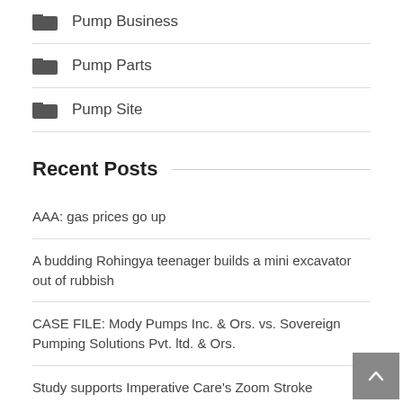Pump Business
Pump Parts
Pump Site
Recent Posts
AAA: gas prices go up
A budding Rohingya teenager builds a mini excavator out of rubbish
CASE FILE: Mody Pumps Inc. & Ors. vs. Sovereign Pumping Solutions Pvt. ltd. & Ors.
Study supports Imperative Care's Zoom Stroke treatment
A bishop is a plumber, so what?